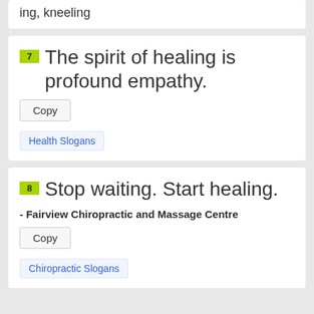ing, kneeling
7 The spirit of healing is profound empathy.
Copy
Health Slogans
8 Stop waiting. Start healing.
- Fairview Chiropractic and Massage Centre
Copy
Chiropractic Slogans